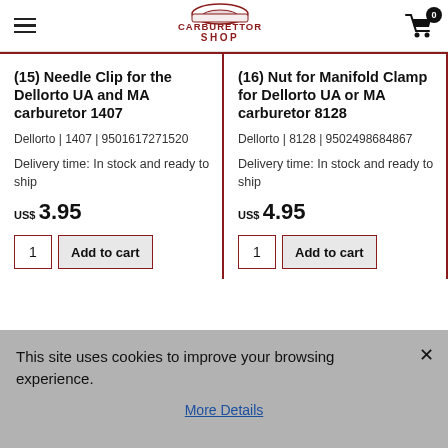Carburettor Shop — navigation header
(15) Needle Clip for the Dellorto UA and MA carburetor 1407
Dellorto | 1407 | 9501617271520
Delivery time: In stock and ready to ship
US$ 3.95
(16) Nut for Manifold Clamp for Dellorto UA or MA carburetor 8128
Dellorto | 8128 | 9502498684867
Delivery time: In stock and ready to ship
US$ 4.95
This site uses cookies to improve your browsing experience.
More Details